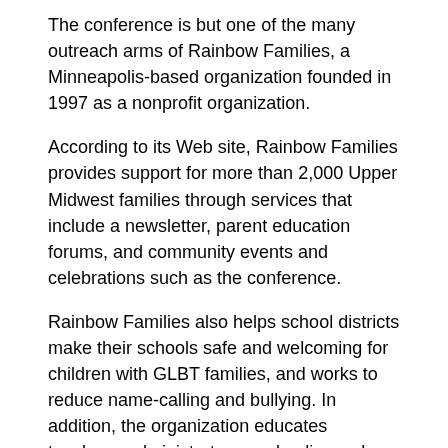The conference is but one of the many outreach arms of Rainbow Families, a Minneapolis-based organization founded in 1997 as a nonprofit organization.
According to its Web site, Rainbow Families provides support for more than 2,000 Upper Midwest families through services that include a newsletter, parent education forums, and community events and celebrations such as the conference.
Rainbow Families also helps school districts make their schools safe and welcoming for children with GLBT families, and works to reduce name-calling and bullying. In addition, the organization educates teachers, administrators, and policy makers about various GLBT issues, and advocates for more inclusive teaching material.
“Rainbow Families has been doing work with schools for a long time, but has enhanced that work recently,” Riskin explains. “It came out of a desire to build safe, welcoming, and affirming schools for children with GLBT parents. The focus is on elementary schools, because in elementary schools, there is very little discussion about GLBT families and individuals.
“Our mission is to help children feeling safe, affirming, and for GLBT...